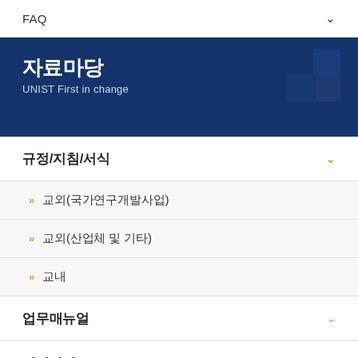FAQ
자료마당
UNIST First in change
규정/지침/서식
교외(국가연구개발사업)
교외(산업체 및 기타)
교내
업무매뉴얼
관련사이트